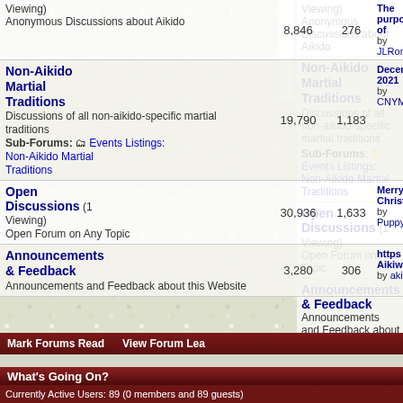| Forum | Posts | Threads | Last Post |
| --- | --- | --- | --- |
| Anonymous Discussions about Aikido (Viewing) | 8,846 | 276 | The purpose of... by JLRonin |
| Non-Aikido Martial Traditions
Discussions of all non-aikido-specific martial traditions
Sub-Forums: Events Listings: Non-Aikido Martial Traditions | 19,790 | 1,183 | December 2021 by CNYMike |
| Open Discussions (1 Viewing)
Open Forum on Any Topic | 30,936 | 1,633 | Merry Christma... by PuppyDoggie |
| Announcements & Feedback
Announcements and Feedback about this Website | 3,280 | 306 | https for Aikiwe... by akiy |
Mark Forums Read   View Forum Lea...
What's Going On?
Currently Active Users: 89 (0 members and 89 guests)